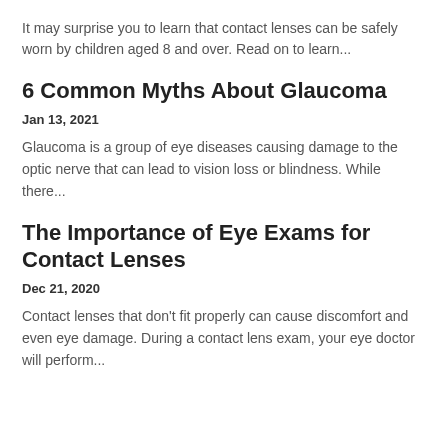It may surprise you to learn that contact lenses can be safely worn by children aged 8 and over. Read on to learn...
6 Common Myths About Glaucoma
Jan 13, 2021
Glaucoma is a group of eye diseases causing damage to the optic nerve that can lead to vision loss or blindness. While there...
The Importance of Eye Exams for Contact Lenses
Dec 21, 2020
Contact lenses that don't fit properly can cause discomfort and even eye damage. During a contact lens exam, your eye doctor will perform...